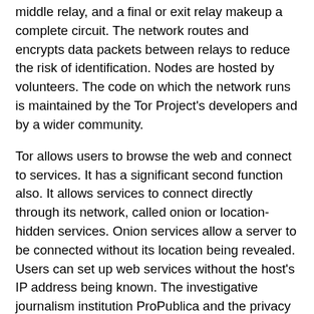middle relay, and a final or exit relay makeup a complete circuit. The network routes and encrypts data packets between relays to reduce the risk of identification. Nodes are hosted by volunteers. The code on which the network runs is maintained by the Tor Project's developers and by a wider community.
Tor allows users to browse the web and connect to services. It has a significant second function also. It allows services to connect directly through its network, called onion or location-hidden services. Onion services allow a server to be connected without its location being revealed. Users can set up web services without the host's IP address being known. The investigative journalism institution ProPublica and the privacy focused email service Protonmail both offer onion services along with their normal web sites, as does Facebook. The British Broadcasting Corporation (BBC) provides an onion mirror for its international news to help citizens of authoritarian countries. These services protect users and provide an anonymous route to using them. It is possible to